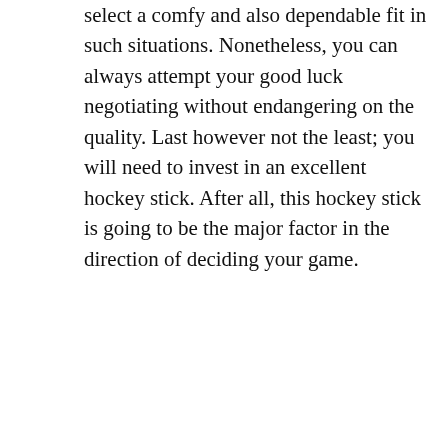select a comfy and also dependable fit in such situations. Nonetheless, you can always attempt your good luck negotiating without endangering on the quality. Last however not the least; you will need to invest in an excellent hockey stick. After all, this hockey stick is going to be the major factor in the direction of deciding your game.
thaddeus / April 12, 2020 / Hockey Gear / board, ice hockey, net, pitched, redline, rod, spear, stick, sticks, trapping
PREVIOUS
Cicada sports' hockey